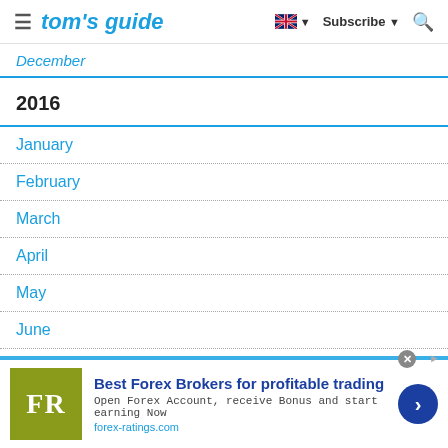tom's guide — Subscribe
December
2016
January
February
March
April
May
June
July
August
[Figure (other): Advertisement banner for forex-ratings.com: Best Forex Brokers for profitable trading. FR logo in olive/green square. Open Forex Account, receive Bonus and start earning Now. forex-ratings.com]